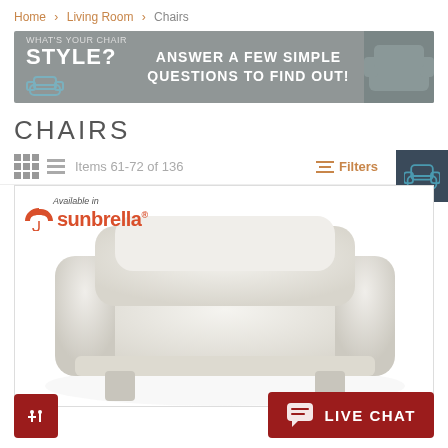Home > Living Room > Chairs
[Figure (infographic): Banner ad: WHAT'S YOUR CHAIR STYLE? ANSWER A FEW SIMPLE QUESTIONS TO FIND OUT!]
CHAIRS
Items 61-72 of 136
Filters
Available in sunbrella®
[Figure (photo): White upholstered armchair with cushion, available in Sunbrella fabric]
LIVE CHAT